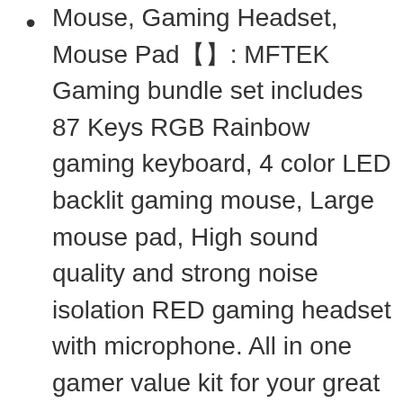【Mouse, Gaming Headset, Mouse Pad】: MFTEK Gaming bundle set includes 87 Keys RGB Rainbow gaming keyboard, 4 color LED backlit gaming mouse, Large mouse pad, High sound quality and strong noise isolation RED gaming headset with microphone. All in one gamer value kit for your great convenience.
【RGB Gaming Keyboard】: MFTEK RGB gaming keyboard with vivid rainbow color backlit mode and breathing mode, you can press